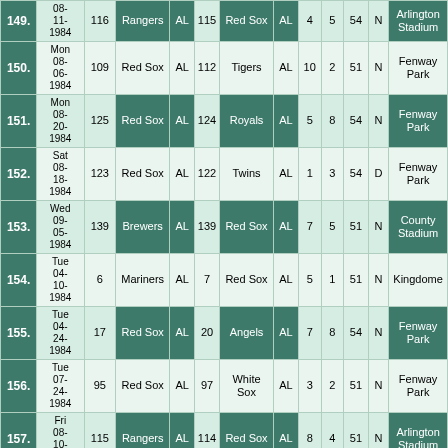| # | Date | Att | Team1 | Lg | Score1 | Team2 | Lg | R1 | R2 | XX | N/D | Stadium |
| --- | --- | --- | --- | --- | --- | --- | --- | --- | --- | --- | --- | --- |
| 149. | 08-11-1984 | 116 | Rangers | AL | 115 | Red Sox | AL | 4 | 5 | 54 | N | Arlington Stadium |
| 150. | Mon 08-06-1984 | 109 | Red Sox | AL | 112 | Tigers | AL | 10 | 2 | 51 | N | Fenway Park |
| 151. | Mon 08-20-1984 | 125 | Red Sox | AL | 124 | Royals | AL | 5 | 8 | 54 | N | Fenway Park |
| 152. | Sat 08-18-1984 | 123 | Red Sox | AL | 122 | Twins | AL | 1 | 3 | 54 | D | Fenway Park |
| 153. | Wed 09-05-1984 | 139 | Brewers | AL | 139 | Red Sox | AL | 7 | 5 | 51 | N | County Stadium |
| 154. | Tue 04-10-1984 | 6 | Mariners | AL | 7 | Red Sox | AL | 5 | 1 | 51 | N | Kingdome |
| 155. | Tue 04-24-1984 | 17 | Red Sox | AL | 20 | Angels | AL | 7 | 8 | 54 | N | Fenway Park |
| 156. | Tue 07-24-1984 | 95 | Red Sox | AL | 97 | White Sox | AL | 3 | 2 | 51 | N | Fenway Park |
| 157. | Fri 08-10-1984 | 115 | Rangers | AL | 114 | Red Sox | AL | 8 | 4 | 51 | N | Arlington Stadium |